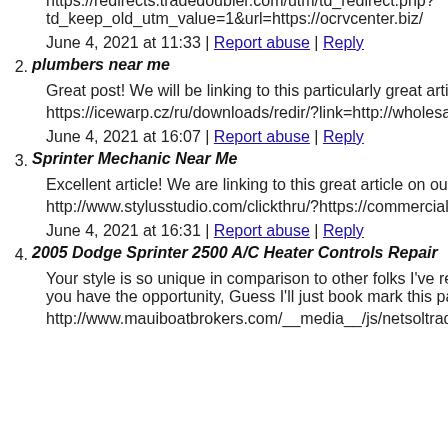https://redirects.tradedoubler.com/utm/td_redirect.php?td_keep_old_utm_value=1&url=https://ocrvcenter.biz/
June 4, 2021 at 11:33 | Report abuse | Reply
2. plumbers near me
Great post! We will be linking to this particularly great article o
https://icewarp.cz/ru/downloads/redir/?link=http://wholesalene
June 4, 2021 at 16:07 | Report abuse | Reply
3. Sprinter Mechanic Near Me
Excellent article! We are linking to this great article on our we
http://www.stylusstudio.com/clickthru/?https://commercialrepa
June 4, 2021 at 16:31 | Report abuse | Reply
4. 2005 Dodge Sprinter 2500 A/C Heater Controls Repair
Your style is so unique in comparison to other folks I've read s you have the opportunity, Guess I'll just book mark this page.
http://www.mauiboatbrokers.com/__media__/js/netsoltradema